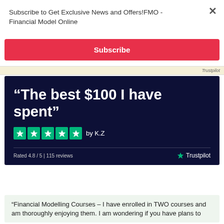Subscribe to Get Exclusive News and Offers!FMO - Financial Model Online
Subscribe
[Figure (screenshot): Dark navy card with large white quote text reading “The best $100 I have spent” followed by five green star ratings labeled by K.Z, with footer showing Rated 4.8 / 5 | 115 reviews and Trustpilot logo]
“Financial Modelling Courses – I have enrolled in TWO courses and am thoroughly enjoying them. I am wondering if you have plans to